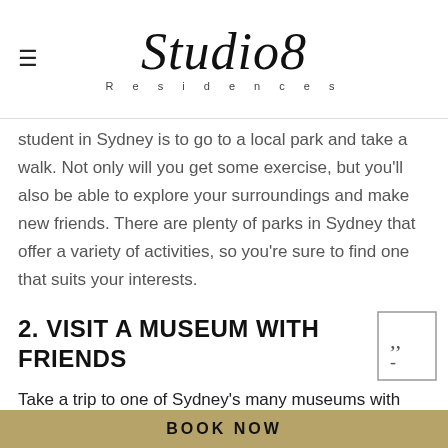Studio8 Residences
student in Sydney is to go to a local park and take a walk. Not only will you get some exercise, but you'll also be able to explore your surroundings and make new friends. There are plenty of parks in Sydney that offer a variety of activities, so you're sure to find one that suits your interests.
2. VISIT A MUSEUM WITH FRIENDS
Take a trip to one of Sydney's many museums with friends. There are plenty of options to choose from, so finding one that interests you won't be difficult.
BOOK NOW